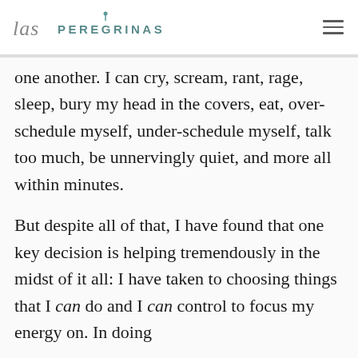las PEREGRINAS
one another. I can cry, scream, rant, rage, sleep, bury my head in the covers, eat, over-schedule myself, under-schedule myself, talk too much, be unnervingly quiet, and more all within minutes.
But despite all of that, I have found that one key decision is helping tremendously in the midst of it all: I have taken to choosing things that I can do and I can control to focus my energy on. In doing